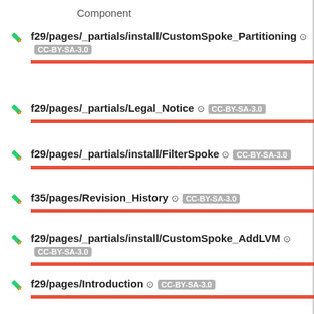Component
f29/pages/_partials/install/CustomSpoke_Partitioning ⊙ CC-BY-SA-3.0
f29/pages/_partials/Legal_Notice ⊙ CC-BY-SA-3.0
f29/pages/_partials/install/FilterSpoke ⊙ CC-BY-SA-3.0
f35/pages/Revision_History ⊙ CC-BY-SA-3.0
f29/pages/_partials/install/CustomSpoke_AddLVM ⊙ CC-BY-SA-3.0
f29/pages/Introduction ⊙ CC-BY-SA-3.0
f29/pages/index ⊙ CC-BY-SA-3.0